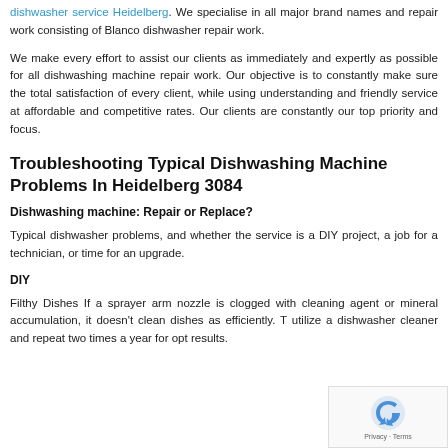dishwasher service Heidelberg. We specialise in all major brand names and repair work consisting of Blanco dishwasher repair work.
We make every effort to assist our clients as immediately and expertly as possible for all dishwashing machine repair work. Our objective is to constantly make sure the total satisfaction of every client, while using understanding and friendly service at affordable and competitive rates. Our clients are constantly our top priority and focus.
Troubleshooting Typical Dishwashing Machine Problems In Heidelberg 3084
Dishwashing machine: Repair or Replace?
Typical dishwasher problems, and whether the service is a DIY project, a job for a technician, or time for an upgrade.
DIY
Filthy Dishes If a sprayer arm nozzle is clogged with cleaning agent or mineral accumulation, it doesn't clean dishes as efficiently. T utilize a dishwasher cleaner and repeat two times a year for opt results.